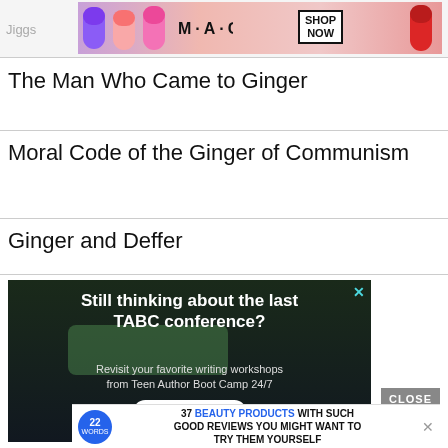[Figure (screenshot): MAC cosmetics advertisement banner with lipsticks and SHOP NOW button]
The Man Who Came to Ginger
Moral Code of the Ginger of Communism
Ginger and Deffer
[Figure (screenshot): TABC conference advertisement: Still thinking about the last TABC conference? Revisit your favorite writing workshops from Teen Author Boot Camp 24/7. Get Started! button. Close button.]
[Figure (screenshot): 22 Words advertisement: 37 BEAUTY PRODUCTS WITH SUCH GOOD REVIEWS YOU MIGHT WANT TO TRY THEM YOURSELF]